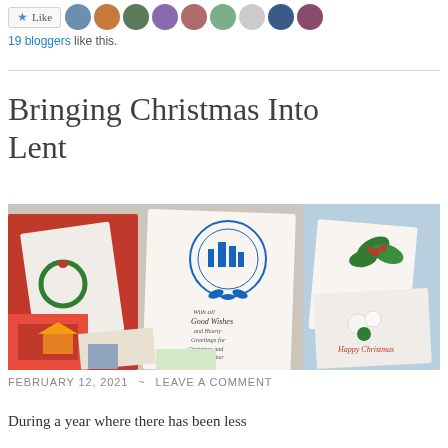[Figure (other): Like button with star icon followed by a row of blogger avatar profile photos]
19 bloggers like this.
Bringing Christmas Into Lent
[Figure (photo): A collage of Christmas cards spread out on a surface, featuring various holiday designs including blue illustrated cards, floral cards, and colorful greeting cards]
FEBRUARY 12, 2021 ~ LEAVE A COMMENT
During a year where there has been less